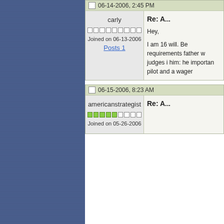06-14-2006, 2:45 PM
carly
Joined on 06-13-2006
Posts 1
Re: A...
Hey,

I am 16 will. Be requirements father w judges i him: he importan pilot and a wager
06-15-2006, 8:23 AM
americanstrategist
Joined on 05-26-2006
Re: A...